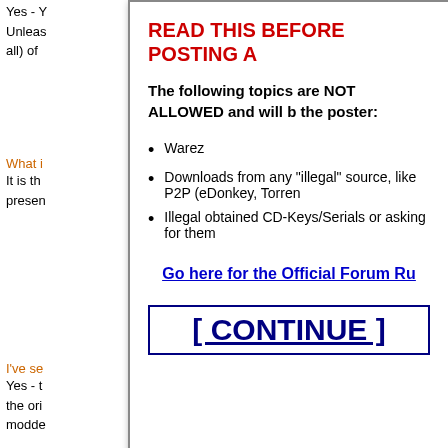Yes - Y
Unleas
all) of
What i
It is th
presen
I've se
Yes - t
the ori
modde
~WoM
...
so far i
2 Matt
3 Xbit:
READ THIS BEFORE POSTING A
The following topics are NOT ALLOWED and will b the poster:
Warez
Downloads from any "illegal" source, like P2P (eDonkey, Torren
Illegal obtained CD-Keys/Serials or asking for them
Go here for the Official Forum Ru
[ CONTINUE ]
My xbox!:
-250 gig
-XBIT
-4981.06 x2
-orange led for light, matching beautifully with the orange x in the splash screen
-Component cable